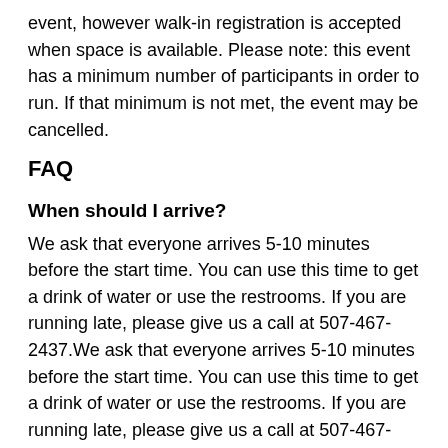event, however walk-in registration is accepted when space is available. Please note: this event has a minimum number of participants in order to run. If that minimum is not met, the event may be cancelled.
FAQ
When should I arrive?
We ask that everyone arrives 5-10 minutes before the start time. You can use this time to get a drink of water or use the restrooms. If you are running late, please give us a call at 507-467-2437.We ask that everyone arrives 5-10 minutes before the start time. You can use this time to get a drink of water or use the restrooms. If you are running late, please give us a call at 507-467-2437.
Can I just show up and pay at the door?
We strongly encourage you to register in advance...